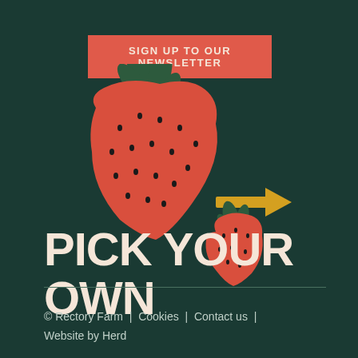SIGN UP TO OUR NEWSLETTER
[Figure (illustration): Large red strawberry illustration with dark green leaves on top, and a smaller red strawberry below-right with dark green leaves, on a dark teal/green background. A yellow arrow points right next to the text 'PICK YOUR OWN'.]
PICK YOUR OWN
© Rectory Farm  |  Cookies  |  Contact us  |  Website by Herd